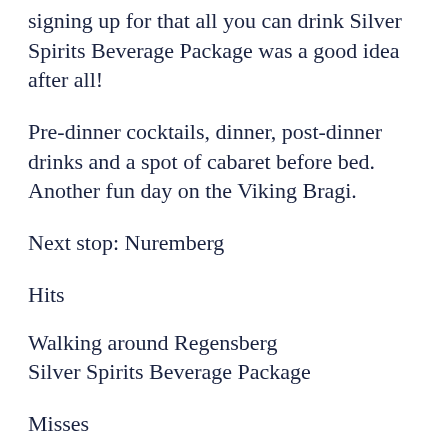signing up for that all you can drink Silver Spirits Beverage Package was a good idea after all!
Pre-dinner cocktails, dinner, post-dinner drinks and a spot of cabaret before bed. Another fun day on the Viking Bragi.
Next stop: Nuremberg
Hits
Walking around Regensberg
Silver Spirits Beverage Package
Misses
Drizzle
No mulled wine on board (suggestion, hint